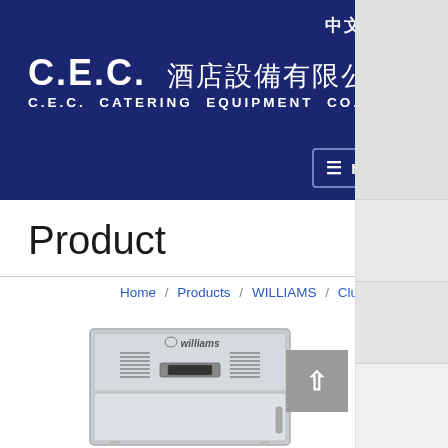中文  ENG
C.E.C. 酒店設備有限公司
C.E.C. CATERING EQUIPMENT CO., LTD.
menu
Product
Home / Products / WILLIAMS / Clubs / Clubho...
[Figure (photo): Williams brand commercial refrigerator unit, stainless steel, upright, with ventilation grilles on front panel]